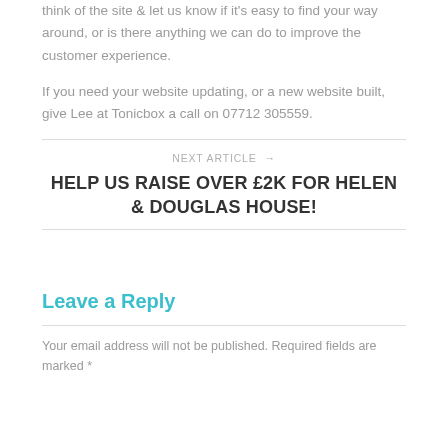think of the site & let us know if it's easy to find your way around, or is there anything we can do to improve the customer experience.
If you need your website updating, or a new website built, give Lee at Tonicbox a call on 07712 305559.
NEXT ARTICLE →
HELP US RAISE OVER £2K FOR HELEN & DOUGLAS HOUSE!
Leave a Reply
Your email address will not be published. Required fields are marked *